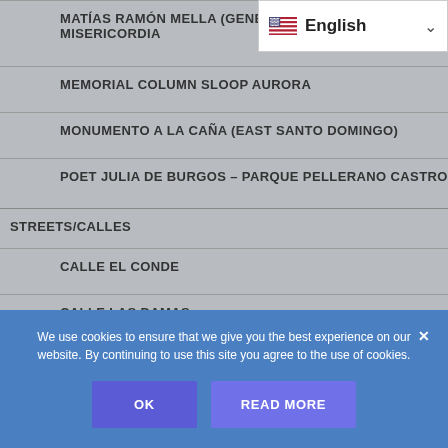[Figure (screenshot): Language selector dropdown showing English with US flag and chevron]
MATÍAS RAMÓN MELLA (GENE… MISERICORDIA
MEMORIAL COLUMN SLOOP AURORA
MONUMENTO A LA CAÑA (EAST SANTO DOMINGO)
POET JULIA DE BURGOS – PARQUE PELLERANO CASTRO
STREETS/CALLES
CALLE EL CONDE
CALLE LAS DAMAS
CALLE HOSTOS
We use cookies to ensure that we give you the best experience on our website. By continuing to use this site you agree to the use of cookies.
OK
READ MORE